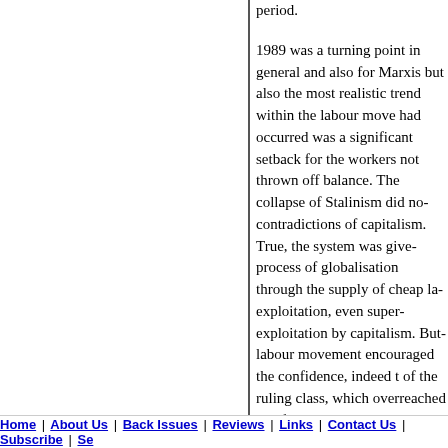period.
1989 was a turning point in general and also for Marxis- but also the most realistic trend within the labour move- had occurred was a significant setback for the workers- not thrown off balance. The collapse of Stalinism did no- contradictions of capitalism. True, the system was give- process of globalisation through the supply of cheap la- exploitation, even super-exploitation by capitalism. But- labour movement encouraged the confidence, indeed t- of the ruling class, which overreached itself in the bubb- two decades. Hubris has been followed by the nemesis- landscape of world capitalism is not at all 'blooming' bu- discarded unemployed workers and the growth in the a-
The working class is stirring and is fighting back. Marxi- ideologues to the margins, by squarely facing up to this- demonstrated its viability in this difficult period. But it is- defeat that its advantages are shown through a sober a- and policies, through the Socialist Party and the CWI, i- increased mobilisation by the masses against capitalis- own. 1989 did not bury socialism or Marxism. It tempor- the working class, which is now being cleared through- incapacity of this system to solve even the basic requir- peoples of the planet.
Home | About Us | Back Issues | Reviews | Links | Contact Us | Subscribe | Se-